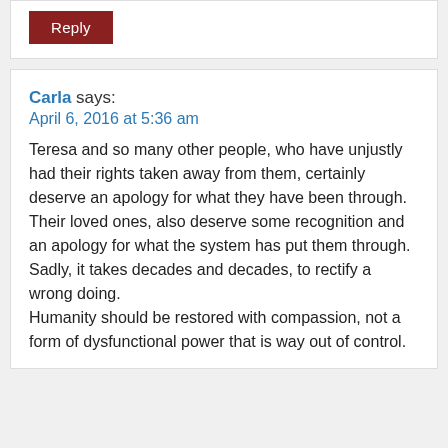[Figure (other): Reply button — dark red rectangular button with white text 'Reply']
Carla says:
April 6, 2016 at 5:36 am
Teresa and so many other people, who have unjustly had their rights taken away from them, certainly deserve an apology for what they have been through.
Their loved ones, also deserve some recognition and an apology for what the system has put them through.
Sadly, it takes decades and decades, to rectify a wrong doing.
Humanity should be restored with compassion, not a form of dysfunctional power that is way out of control.